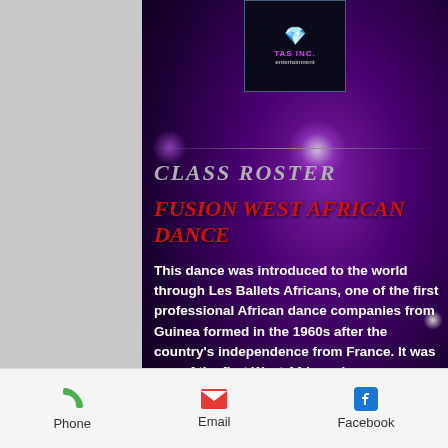[Figure (logo): TAS INC. entertainment logo with pink gem/diamond icon on dark background]
CLASS ROSTER
FUSION WEST AFRICAN DANCE
This dance was introduced to the world through Les Ballets Africans, one of the first professional African dance companies from Guinea formed in the 1960s after the country's independence from France. It was one of the first West African dance companies that broke down the cultural barriers that existed
Phone   Email   Facebook